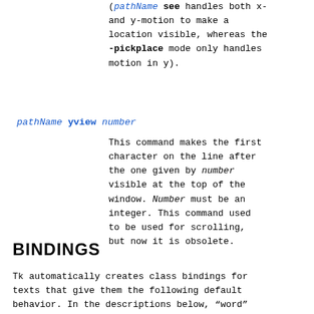(pathName see handles both x- and y-motion to make a location visible, whereas the -pickplace mode only handles motion in y).
pathName yview number
This command makes the first character on the line after the one given by number visible at the top of the window. Number must be an integer. This command used to be used for scrolling, but now it is obsolete.
BINDINGS
Tk automatically creates class bindings for texts that give them the following default behavior. In the descriptions below, “word” is dependent on the value of the